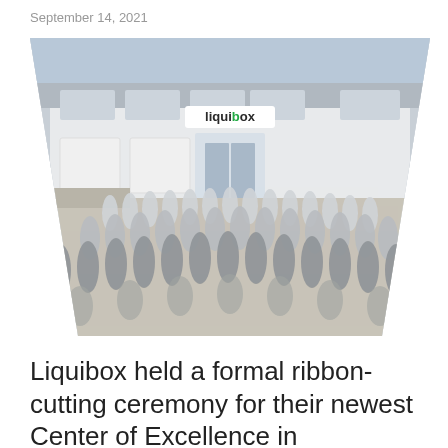September 14, 2021
[Figure (photo): Group photo of approximately 100+ Liquibox employees wearing face masks, standing in front of the Liquibox building/facility. The building has a large 'liquibox' sign in green and blue lettering. The photo is taken in an outdoor courtyard with a trapezoid/parallelogram-shaped crop.]
Liquibox held a formal ribbon-cutting ceremony for their newest Center of Excellence in